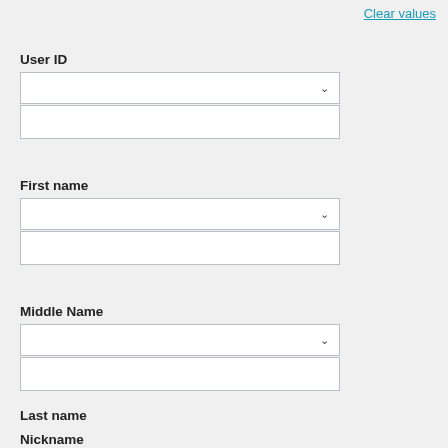Clear values
User ID
First name
Middle Name
Last name
Nickname